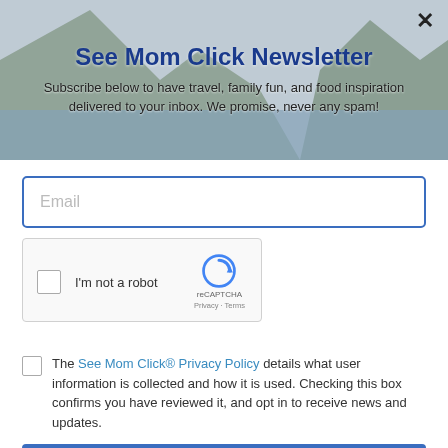[Figure (photo): Background photo of tropical bay with green mountains and water, used as hero image behind newsletter modal header]
See Mom Click Newsletter
Subscribe below to have travel, family fun, and food inspiration delivered to your inbox. We promise, never any spam!
[Figure (screenshot): Email input field with placeholder text 'Email' and blue border]
[Figure (screenshot): reCAPTCHA widget with checkbox labeled 'I'm not a robot', reCAPTCHA logo, and Privacy - Terms links]
The See Mom Click® Privacy Policy details what user information is collected and how it is used. Checking this box confirms you have reviewed it, and opt in to receive news and updates.
SUBSCRIBE